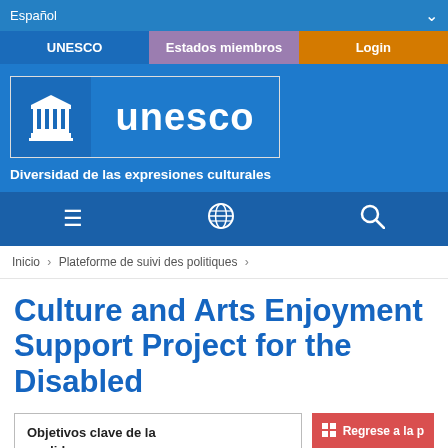Español
UNESCO | Estados miembros | Login
[Figure (logo): UNESCO logo with temple icon and 'unesco' text on blue background]
Diversidad de las expresiones culturales
☰  🌐  🔍
Inicio > Plateforme de suivi des politiques >
Culture and Arts Enjoyment Support Project for the Disabled
Objetivos clave de la medida:
Regrese a la p